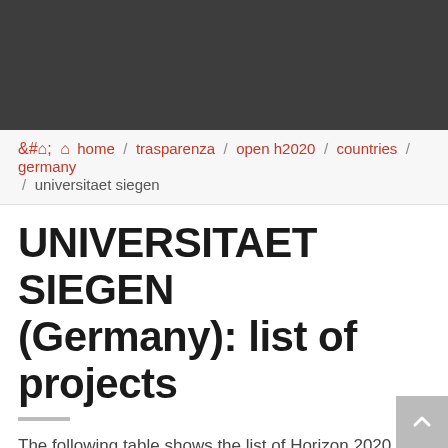home / trasparenza / open h2020 / countries / germany / universitaet siegen
UNIVERSITAET SIEGEN (Germany): list of projects
The following table shows the list of Horizon 2020 projects